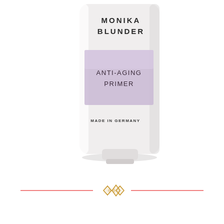[Figure (photo): Monika Blunder Anti-Aging Primer product tube, white with lavender/purple label, text reading MONIKA BLUNDER, ANTI-AGING PRIMER, MADE IN GERMANY, on white background]
[Figure (illustration): Decorative gold diamond/rhombus ornament divider with two pink horizontal lines on either side]